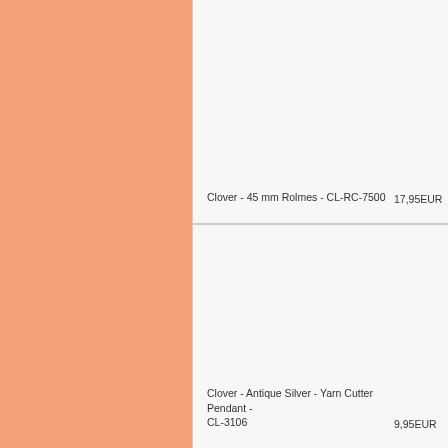Clover - 45 mm Rolmes - CL-RC-7500   17,95EUR
Clover - Antique Silver - Yarn Cutter Pendant - CL-3106   9,95EUR